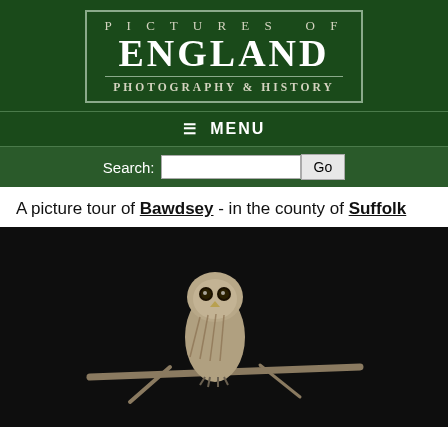[Figure (logo): Pictures of England logo — dark green background with bordered box containing 'PICTURES OF ENGLAND' and subtitle 'PHOTOGRAPHY & HISTORY']
≡ MENU
Search: [input box] Go
A picture tour of Bawdsey - in the county of Suffolk
[Figure (photo): Tawny owl perched on a bare branch at night, dark background, photographed in Bawdsey, Suffolk]